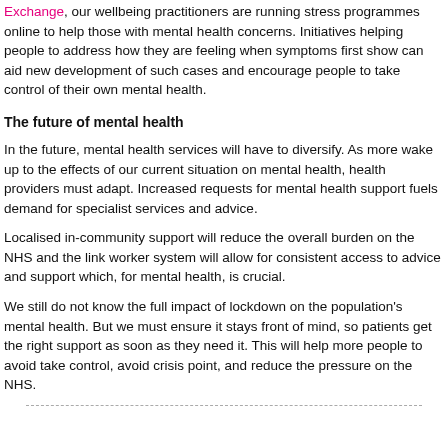Exchange, our wellbeing practitioners are running stress programmes online to help those with mental health concerns. Initiatives helping people to address how they are feeling when symptoms first show can aid new development of such cases and encourage people to take control of their own mental health.
The future of mental health
In the future, mental health services will have to diversify. As more wake up to the effects of our current situation on mental health, health providers must adapt. Increased requests for mental health support fuels demand for specialist services and advice.
Localised in-community support will reduce the overall burden on the NHS and the link worker system will allow for consistent access to advice and support which, for mental health, is crucial.
We still do not know the full impact of lockdown on the population's mental health. But we must ensure it stays front of mind, so patients get the right support as soon as they need it. This will help more people to avoid take control, avoid crisis point, and reduce the pressure on the NHS.